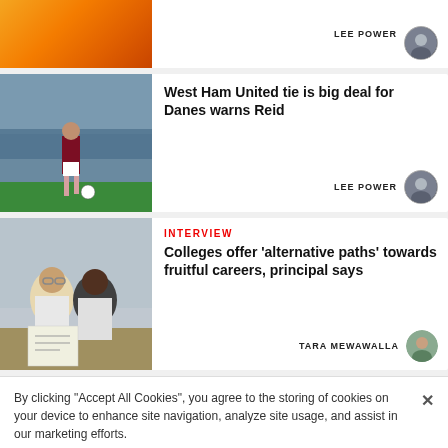[Figure (photo): Partial card top showing orange/yellow background, author Lee Power with avatar]
LEE POWER
[Figure (photo): West Ham United soccer player kicking ball on pitch with crowd in background]
West Ham United tie is big deal for Danes warns Reid
LEE POWER
[Figure (photo): Two scientists in lab coats and safety goggles reading documents]
INTERVIEW
Colleges offer 'alternative paths' towards fruitful careers, principal says
TARA MEWAWALLA
By clicking "Accept All Cookies", you agree to the storing of cookies on your device to enhance site navigation, analyze site usage, and assist in our marketing efforts.